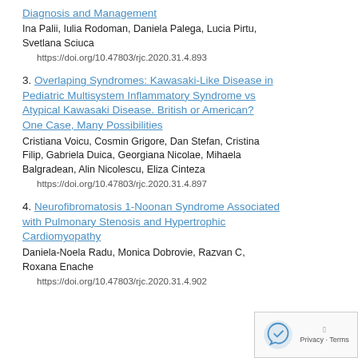Diagnosis and Management
Ina Palii, Iulia Rodoman, Daniela Palega, Lucia Pirtu, Svetlana Sciuca
https://doi.org/10.47803/rjc.2020.31.4.893
3. Overlaping Syndromes: Kawasaki-Like Disease in Pediatric Multisystem Inflammatory Syndrome vs Atypical Kawasaki Disease. British or American? One Case, Many Possibilities
Cristiana Voicu, Cosmin Grigore, Dan Stefan, Cristina Filip, Gabriela Duica, Georgiana Nicolae, Mihaela Balgradean, Alin Nicolescu, Eliza Cinteza
https://doi.org/10.47803/rjc.2020.31.4.897
4. Neurofibromatosis 1-Noonan Syndrome Associated with Pulmonary Stenosis and Hypertrophic Cardiomyopathy
Daniela-Noela Radu, Monica Dobrovie, Razvan C, Roxana Enache
https://doi.org/10.47803/rjc.2020.31.4.902